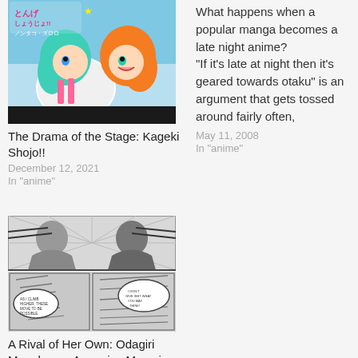[Figure (illustration): Anime screenshot thumbnail for Kageki Shojo!! showing two colorful anime girls, one with teal hair and one with orange hair, with Japanese text overlay and a dark bottom bar.]
The Drama of the Stage: Kageki Shojo!!
December 12, 2021
In "anime"
What happens when a popular manga becomes a late night anime? "If it's late at night then it's geared towards otaku" is an argument that gets tossed around fairly often,
May 11, 2008
In "anime"
[Figure (illustration): Black and white manga panels showing dramatic action scenes with speech bubbles, for Shoujo Fight.]
A Rival of Her Own: Odagiri Manabu vs. Amamiya Maya in Shoujo Fight
March 23, 2022
In "manga"